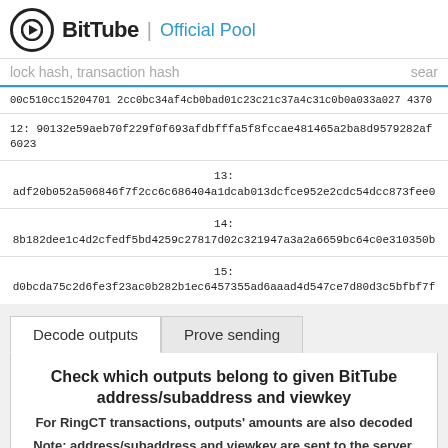BitTube | Official Pool
lock hash, transaction hash   sear
00c510cc15204701 2cc0bc34af4cb0bad01c23c21c37a4c31c0b0a033a027 4370
12: 90132e59aeb70f229f0f693afdbfffa5f8fccae481465a2ba8d9579282af6023
13: adf20b052a506846f7f2cc6c686404a1dcab013dcfce952e2cdc54dcc873fee0
14: 8b182dee1c4d2cfedf5bd4259c27817d02c321947a3a2a6659bc64c0e310350b
15: d0bcda75c2d6fe3f23ac0b282b1ec6457355ad6aaad4d547ce7d80d3c5bfbf7f
Decode outputs   Prove sending
Check which outputs belong to given BitTube address/subaddress and viewkey
For RingCT transactions, outputs' amounts are also decoded
Note: address/subaddress and viewkey are sent to the server, as the calculations are done on the server side